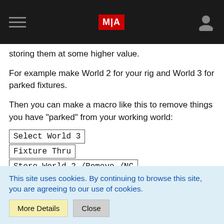MIA (navigation bar with hamburger menu and user icon)
storing them at some higher value.
For example make World 2 for your rig and World 3 for parked fixtures.
Then you can make a macro like this to remove things you have "parked" from your working world:
Select World 3
Fixture Thru
Store World 2 /Remove /NC
Select World 2
This still doesn't solve the Off Off issue but it at least means you wont see the parked channels in your fixture sheet.
This site uses cookies. By continuing to browse this site, you are agreeing to our use of cookies.